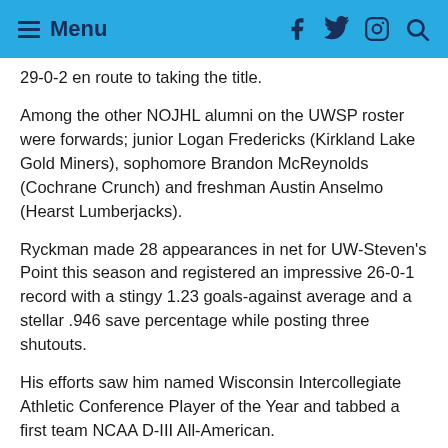Menu
29-0-2 en route to taking the title.
Among the other NOJHL alumni on the UWSP roster were forwards; junior Logan Fredericks (Kirkland Lake Gold Miners), sophomore Brandon McReynolds (Cochrane Crunch) and freshman Austin Anselmo (Hearst Lumberjacks).
Ryckman made 28 appearances in net for UW-Steven's Point this season and registered an impressive 26-0-1 record with a stingy 1.23 goals-against average and a stellar .946 save percentage while posting three shutouts.
His efforts saw him named Wisconsin Intercollegiate Athletic Conference Player of the Year and tabbed a first team NCAA D-III All-American.